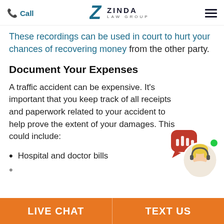Call | ZINDA LAW GROUP | (menu)
These recordings can be used in court to hurt your chances of recovering money from the other party.
Document Your Expenses
A traffic accident can be expensive. It’s important that you keep track of all receipts and paperwork related to your accident to help prove the extent of your damages. This could include:
[Figure (illustration): Chat agent widget with red speech bubble containing audio waveform icon, a circular photo of a blonde female agent wearing a headset, and a green online status dot]
Hospital and doctor bills
LIVE CHAT | TEXT US